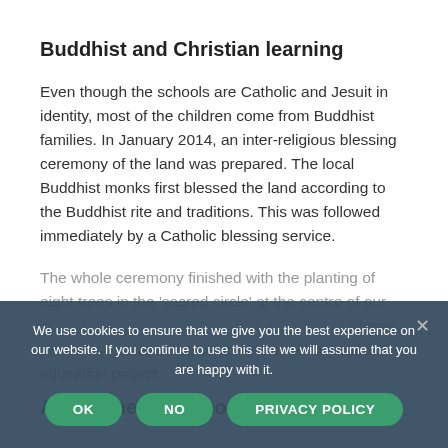Buddhist and Christian learning
Even though the schools are Catholic and Jesuit in identity, most of the children come from Buddhist families. In January 2014, an inter-religious blessing ceremony of the land was prepared. The local Buddhist monks first blessed the land according to the Buddhist rite and traditions. This was followed immediately by a Catholic blessing service.
The whole ceremony finished with the planting of eight trees in the 'sacred circle' at the centre of our school campus. These trees are a symbol of silence, peace and quiet at the centre of our schools and education project.
A lot done. A lot more to do.
We use cookies to ensure that we give you the best experience on our website. If you continue to use this site we will assume that you are happy with it.